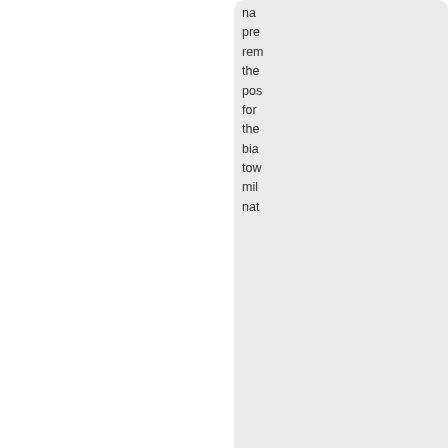na pre rem the pos for the bia tow mil nat
[Figure (screenshot): Scroll-to-top button icon, circular gray arrow]
[Figure (illustration): Forum user avatar: rainbow-colored flag with white central stripe bearing a black anchor/ship wheel symbol]
Reploid Productions
Forum Admin

Posts: 29264
Founded: Antiquity Democratic Socialists
QUOTE
Re: Comple Nation States.
by Reploid Productions
» Sun Jun 21, 2009 11:24 pm